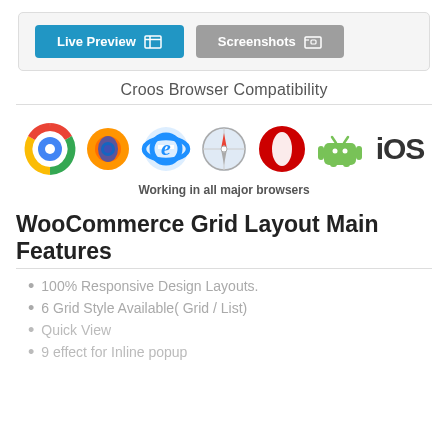[Figure (screenshot): Two buttons: 'Live Preview' (blue) and 'Screenshots' (gray)]
Croos Browser Compatibility
[Figure (infographic): Browser compatibility icons: Chrome, Firefox, Internet Explorer, Safari, Opera, Android, iOS. Caption: Working in all major browsers]
Working in all major browsers
WooCommerce Grid Layout Main Features
100% Responsive Design Layouts.
6 Grid Style Available( Grid / List)
Quick View
9 effect for Inline popup